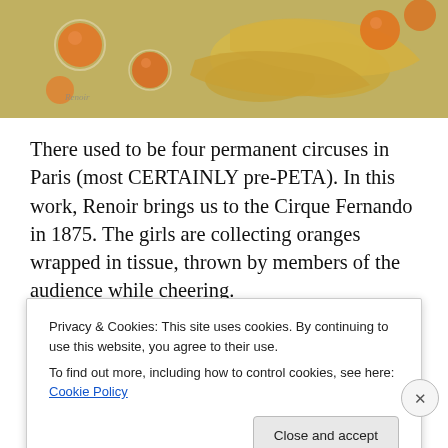[Figure (photo): Cropped section of a Renoir painting showing feet and oranges on a warm yellowish-brown background, with orange circular shapes visible]
There used to be four permanent circuses in Paris (most CERTAINLY pre-PETA). In this work, Renoir brings us to the Cirque Fernando in 1875. The girls are collecting oranges wrapped in tissue, thrown by members of the audience while cheering.
[Figure (screenshot): Advertisement banner showing 'Explore options' green button and food/cookbook images on a beige background]
Privacy & Cookies: This site uses cookies. By continuing to use this website, you agree to their use.
To find out more, including how to control cookies, see here: Cookie Policy
Close and accept